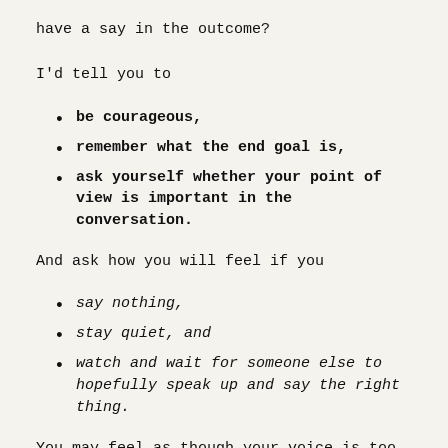have a say in the outcome?
I'd tell you to
be courageous,
remember what the end goal is,
ask yourself whether your point of view is important in the conversation.
And ask how you will feel if you
say nothing,
stay quiet, and
watch and wait for someone else to hopefully speak up and say the right thing.
You may feel as though your voice is too quiet, but if you have something to say, and it's important to you, then